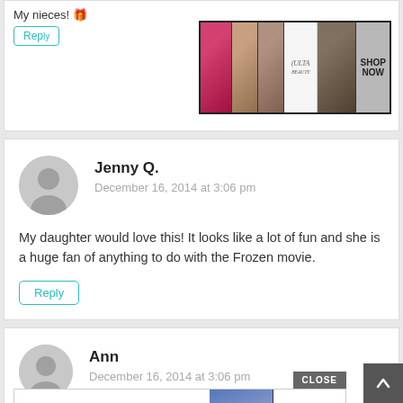My nieces! 🎁
[Figure (screenshot): ULTA beauty advertisement banner showing makeup imagery and 'SHOP NOW' text]
Jenny Q.
December 16, 2014 at 3:06 pm
My daughter would love this! It looks like a lot of fun and she is a huge fan of anything to do with the Frozen movie.
Ann
December 16, 2014 at 3:06 pm
My d... Lego...
[Figure (screenshot): Bloomingdale's advertisement overlay showing 'View Today's Top Deals!' with SHOP NOW button and model photo]